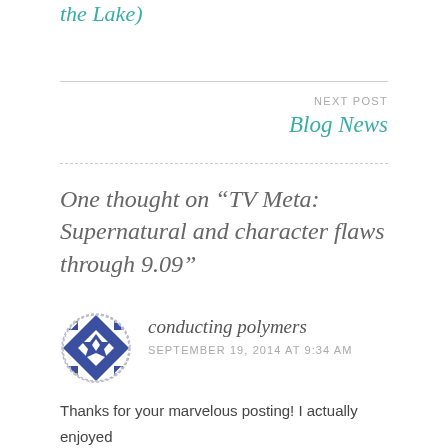the Lake)
NEXT POST
Blog News
One thought on “TV Meta: Supernatural and character flaws through 9.09”
[Figure (illustration): Circular avatar with blue geometric quilt-like pattern on white background, dashed circular border]
conducting polymers
SEPTEMBER 19, 2014 AT 9:34 AM
Thanks for your marvelous posting! I actually enjoyed reading it, you are a great author. I will remember to bookmark your blog and